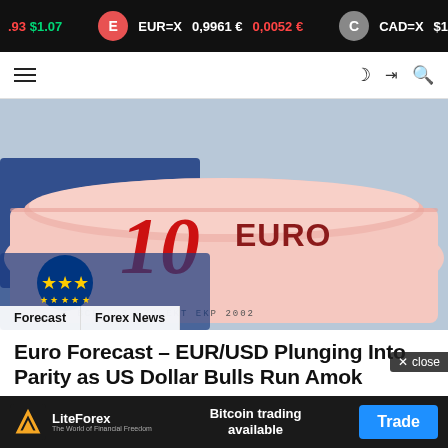93 $1.07  EUR=X 0,9961 € 0,0052 €  CAD=X $1.30 $0...
[Figure (photo): Close-up photo of a rolled 10 Euro banknote with EU flag visible and BCE ECB EZB text on the bill]
Forecast   Forex News
Euro Forecast – EUR/USD Plunging Into Parity as US Dollar Bulls Run Amok
[Figure (other): LiteForex advertisement banner: Bitcoin trading available, with Trade button]